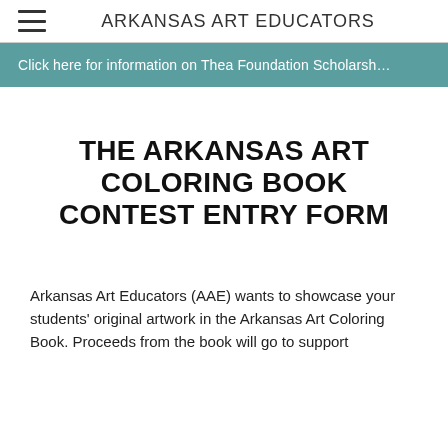ARKANSAS ART EDUCATORS
Click here for information on Thea Foundation Scholarsh…
THE ARKANSAS ART COLORING BOOK CONTEST ENTRY FORM
Arkansas Art Educators (AAE) wants to showcase your students' original artwork in the Arkansas Art Coloring Book. Proceeds from the book will go to support